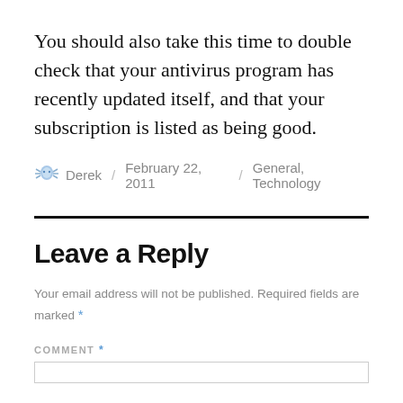You should also take this time to double check that your antivirus program has recently updated itself, and that your subscription is listed as being good.
Derek / February 22, 2011 / General, Technology
Leave a Reply
Your email address will not be published. Required fields are marked *
COMMENT *